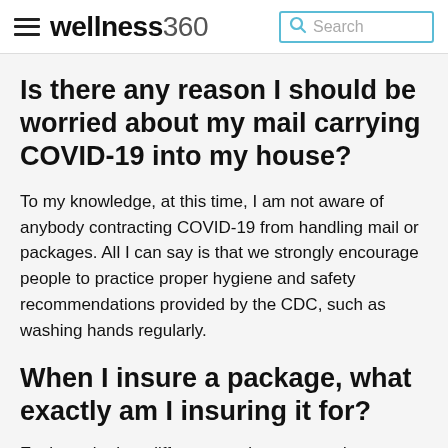wellness360 Search
Is there any reason I should be worried about my mail carrying COVID-19 into my house?
To my knowledge, at this time, I am not aware of anybody contracting COVID-19 from handling mail or packages. All I can say is that we strongly encourage people to practice proper hygiene and safety recommendations provided by the CDC, such as washing hands regularly.
When I insure a package, what exactly am I insuring it for?
Each carrier has different requirements and